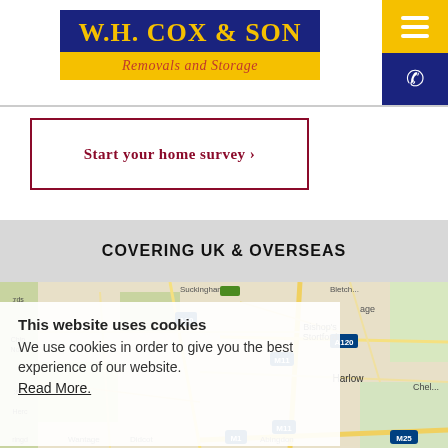[Figure (logo): W.H. Cox & Son Removals and Storage logo. Dark blue top section with yellow text, yellow bottom section with red italic text.]
[Figure (other): Yellow hamburger/menu button in top right corner]
[Figure (other): Dark blue phone button below the hamburger button]
Start your home survey >
COVERING UK & OVERSEAS
[Figure (map): Google Maps screenshot showing UK region including Bishop's Stortford, Harlow, and surrounding areas with road network including M11, A120, A10, M25 motorways.]
This website uses cookies
We use cookies in order to give you the best experience of our website.
Read More.